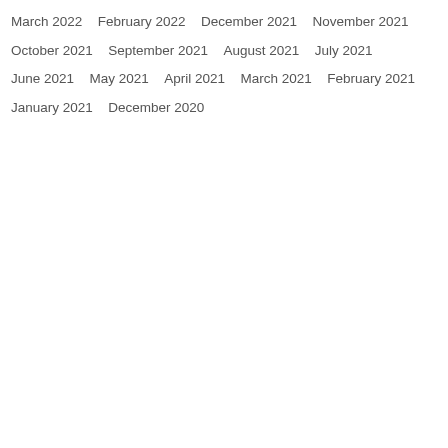March 2022
February 2022
December 2021
November 2021
October 2021
September 2021
August 2021
July 2021
June 2021
May 2021
April 2021
March 2021
February 2021
January 2021
December 2020